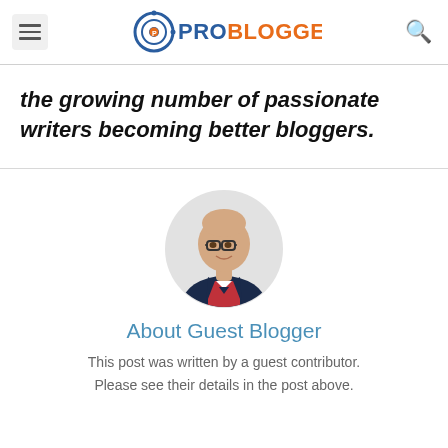ProBlogger
the growing number of passionate writers becoming better bloggers.
[Figure (photo): Circular profile photo of a bald man wearing glasses and a navy blazer over a Captain America-style t-shirt, on white background]
About Guest Blogger
This post was written by a guest contributor. Please see their details in the post above.